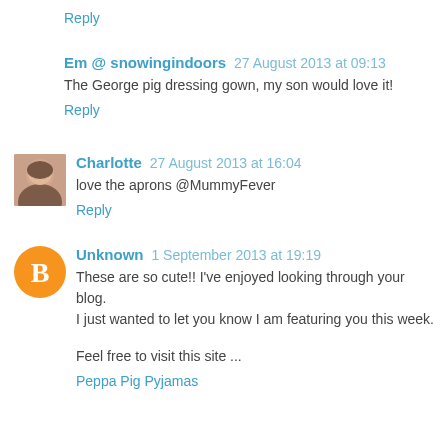Reply
Em @ snowingindoors  27 August 2013 at 09:13
The George pig dressing gown, my son would love it!
Reply
Charlotte  27 August 2013 at 16:04
love the aprons @MummyFever
Reply
Unknown  1 September 2013 at 19:19
These are so cute!! I've enjoyed looking through your blog. I just wanted to let you know I am featuring you this week.
Feel free to visit this site ...
Peppa Pig Pyjamas